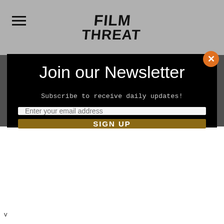[Figure (logo): Film Threat website logo with hamburger menu icon]
Submit Your Film to Film Threat
[Figure (photo): Movie still showing a man's face, partially visible]
Join our Newsletter
Subscribe to receive daily updates!
Enter your email address
SIGN UP